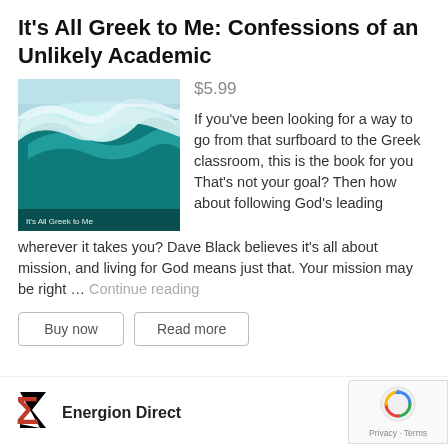It's All Greek to Me: Confessions of an Unlikely Academic
[Figure (photo): Book cover showing a large ocean wave (teal/green surf) with text overlay 'It's All Greek to Me' at the bottom]
$5.99
If you've been looking for a way to go from that surfboard to the Greek classroom, this is the book for you That's not your goal? Then how about following God's leading wherever it takes you? Dave Black believes it's all about mission, and living for God means just that. Your mission may be right … Continue reading
Buy now
Read more
Energion Direct